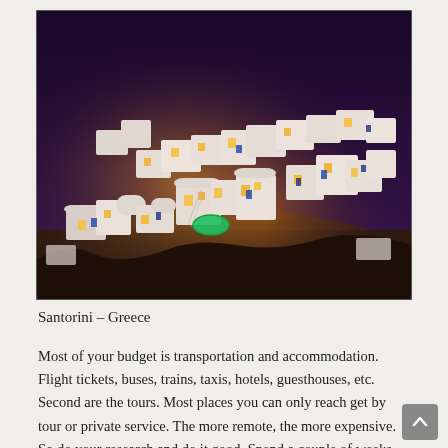[Figure (photo): Aerial night view of Santorini, Greece, showing white cubic buildings lit with warm golden lights cascading down a rocky hillside, with blue accents on doors and a green pool visible.]
Santorini – Greece
Most of your budget is transportation and accommodation. Flight tickets, buses, trains, taxis, hotels, guesthouses, etc. Second are the tours. Most places you can only reach get by tour or private service. The more remote, the more expensive. So do your research and do it good. Spend a couple of weeks on...